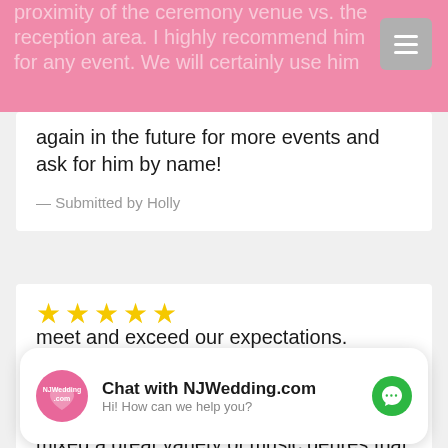proximity of the ceremony venue vs. the reception area. I highly recommend him for any event. We will certainly use him again in the future for more events and ask for him by name!
— Submitted by Holly
[Figure (other): Five gold star rating icons]
Great entertainment
Ryan and Chris were a great entertainment duo for our wedding. They mixed a great variety of music genres that kept all ages on their feet. Ryan was very professional and made meet and exceed our expectations.
[Figure (other): Chat widget: NJWedding.com chat prompt with messenger icon. Title: Chat with NJWedding.com. Subtitle: Hi! How can we help you?]